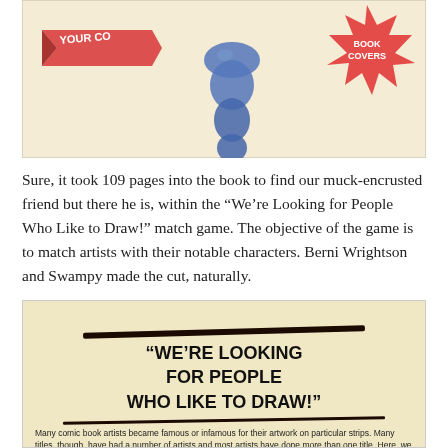[Figure (illustration): Partial comic book page showing a cartoon figure and decorative starburst elements with text 'YOUR CO...' on a ribbon and 'BOOK COVERS' on a starburst, on a cream/tan background.]
Sure, it took 109 pages into the book to find our muck-encrusted friend but there he is, within the “We’re Looking for People Who Like to Draw!” match game. The objective of the game is to match artists with their notable characters. Berni Wrightson and Swampy made the cut, naturally.
[Figure (illustration): Scanned page from a book showing a decorative rule and the bold headline text '"WE'RE LOOKING FOR PEOPLE WHO LIKE TO DRAW!"' followed by small body text: 'Many comic book artists became famous or infamous for their artwork on particular strips. Many titles, though, have had a number of artists and most artists have done more than one title. Here, we are looking to match the [associated]']